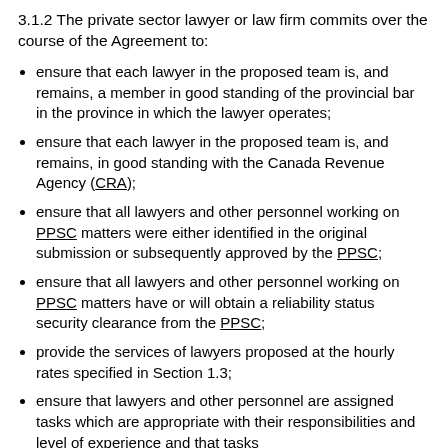3.1.2 The private sector lawyer or law firm commits over the course of the Agreement to:
ensure that each lawyer in the proposed team is, and remains, a member in good standing of the provincial bar in the province in which the lawyer operates;
ensure that each lawyer in the proposed team is, and remains, in good standing with the Canada Revenue Agency (CRA);
ensure that all lawyers and other personnel working on PPSC matters were either identified in the original submission or subsequently approved by the PPSC;
ensure that all lawyers and other personnel working on PPSC matters have or will obtain a reliability status security clearance from the PPSC;
provide the services of lawyers proposed at the hourly rates specified in Section 1.3;
ensure that lawyers and other personnel are assigned tasks which are appropriate with their responsibilities and level of experience and that tasks